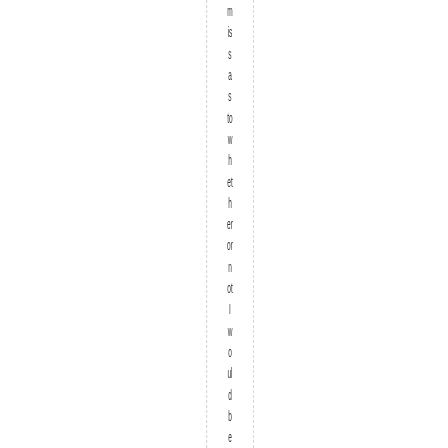m is s a s to w h et h er or n ot I w o ul d b e a bl e to g et th er e, h